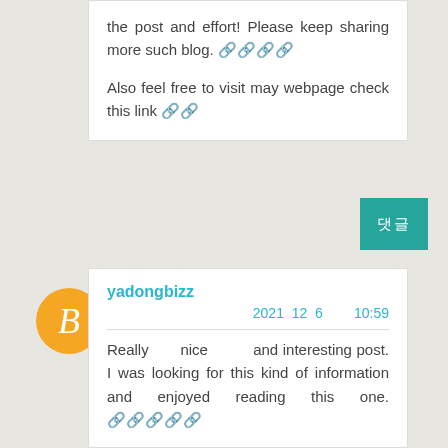the post and effort! Please keep sharing more such blog. 🔗🔗🔗🔗
Also feel free to visit may webpage check this link 🔗🔗
댓글
[Figure (illustration): Orange circle avatar with white letter B in italic/serif style]
yadongbizz
2021 12 6    10:59
Really nice and interesting post. I was looking for this kind of information and enjoyed reading this one. 🔗🔗🔗🔗🔗
Also feel free to visit may